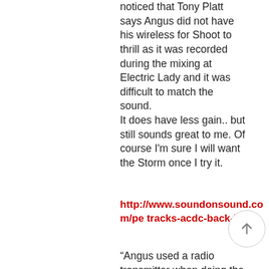noticed that Tony Platt says Angus did not have his wireless for Shoot to thrill as it was recorded during the mixing at Electric Lady and it was difficult to match the sound.
It does have less gain.. but still sounds great to me. Of course I'm sure I will want the Storm once I try it.
http://www.soundonsound.com/pe tracks-acdc-back-black
“Angus used a radio transmitter when doing the solos. His